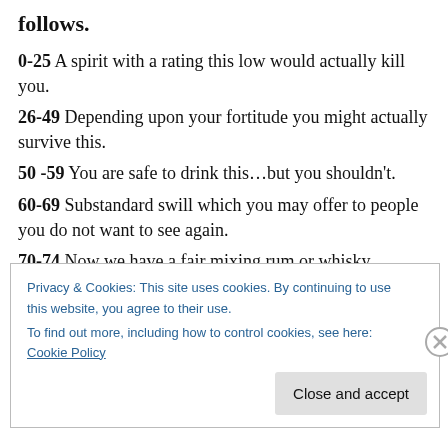follows.
0-25 A spirit with a rating this low would actually kill you.
26-49 Depending upon your fortitude you might actually survive this.
50 -59 You are safe to drink this...but you shouldn't.
60-69 Substandard swill which you may offer to people you do not want to see again.
70-74 Now we have a fair mixing rum or whisky. Accept this but make sure it is mixed into a cocktail.
75-79 You may begin to serve this to friends, again
Privacy & Cookies: This site uses cookies. By continuing to use this website, you agree to their use. To find out more, including how to control cookies, see here: Cookie Policy